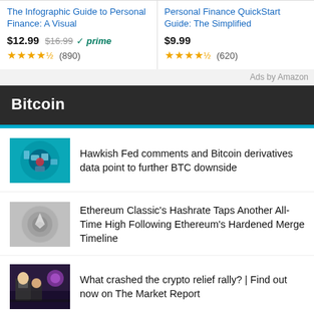[Figure (screenshot): Amazon ad: The Infographic Guide to Personal Finance: A Visual, $12.99 (was $16.99), Prime eligible, 4.5 stars (890 reviews)]
[Figure (screenshot): Amazon ad: Personal Finance QuickStart Guide: The Simplified, $9.99, 4.5 stars (620 reviews)]
Ads by Amazon
Bitcoin
[Figure (photo): Thumbnail for article about Hawkish Fed comments and Bitcoin derivatives]
Hawkish Fed comments and Bitcoin derivatives data point to further BTC downside
[Figure (photo): Thumbnail for article about Ethereum Classic Hashrate]
Ethereum Classic's Hashrate Taps Another All-Time High Following Ethereum's Hardened Merge Timeline
[Figure (photo): Thumbnail for article about crypto relief rally]
What crashed the crypto relief rally? | Find out now on The Market Report